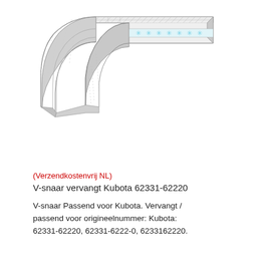[Figure (illustration): Technical illustration of a V-belt (v-snaar) shown in partial curved/bent view, with trapezoidal cross-section, hatched edges indicating rubber material layers, and a row of light blue snowflake/asterisk symbols along the middle band indicating cord reinforcement.]
(Verzendkostenvrij NL)
V-snaar vervangt Kubota 62331-62220
V-snaar Passend voor Kubota. Vervangt / passend voor origineelnummer: Kubota: 62331-62220, 62331-6222-0, 6233162220.